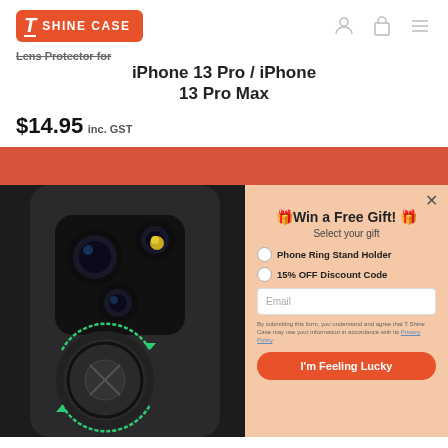[Figure (logo): T Shine Case logo - red background with T icon and 'SHINE CASE' text in white]
Lens Protector for iPhone 13 Pro / iPhone 13 Pro Max
$14.95 inc. GST
[Figure (photo): Black iPhone 13 Pro Max showing rear camera module with a lens protector being applied, with green circular arrows showing rotation]
[Figure (screenshot): Win a Free Gift popup on peach/salmon background with radio options for Phone Ring Stand Holder and 15% OFF Discount Code, email field, disclaimer text, and I'm Feeling Lucky button]